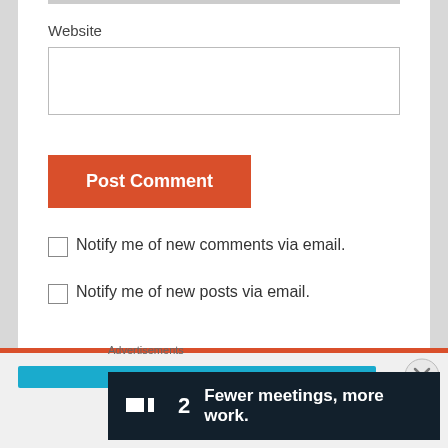Website
Post Comment
Notify me of new comments via email.
Notify me of new posts via email.
Advertisements
[Figure (screenshot): Advertisement banner with dark background showing a logo '2' and text 'Fewer meetings, more work.']